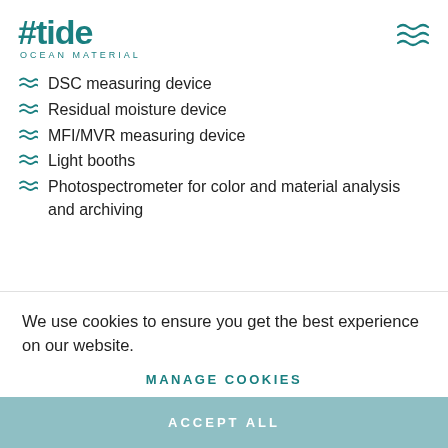[Figure (logo): Tide Ocean Material logo with hash-tide text in teal and wave icon]
DSC measuring device
Residual moisture device
MFI/MVR measuring device
Light booths
Photospectrometer for color and material analysis and archiving
The team at the IWK also works with a state of the art
We use cookies to ensure you get the best experience on our website.
MANAGE COOKIES
ACCEPT ALL